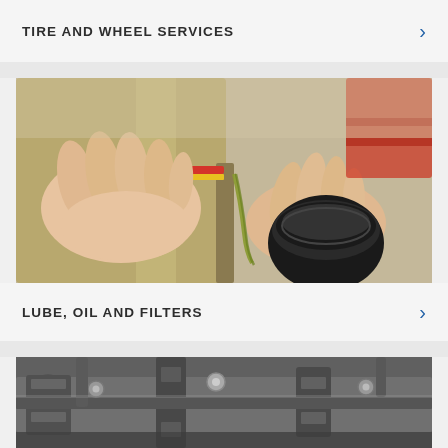TIRE AND WHEEL SERVICES
[Figure (photo): Person pouring motor oil from a golden/olive colored bottle into an engine oil fill cap, with a red tool chest visible in the blurred background. Green/yellow oil stream visible.]
LUBE, OIL AND FILTERS
[Figure (photo): Close-up of a car engine showing metal engine components, bolts, brackets and wiring in silver and black tones.]